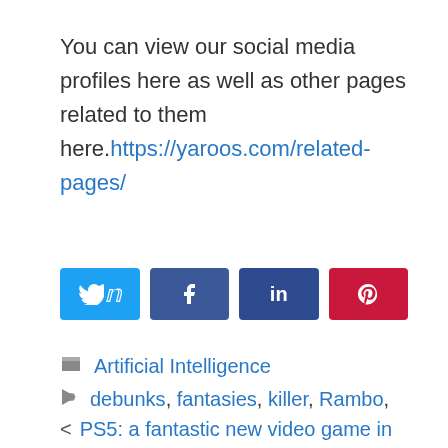You can view our social media profiles here as well as other pages related to them here.https://yaroos.com/related-pages/
[Figure (other): Social media share buttons: Twitter (blue), Facebook (dark blue), LinkedIn (dark blue), Pinterest (red)]
Artificial Intelligence
debunks, fantasies, killer, Rambo, Report, robot, Terminator
< PS5: a fantastic new video game in development?